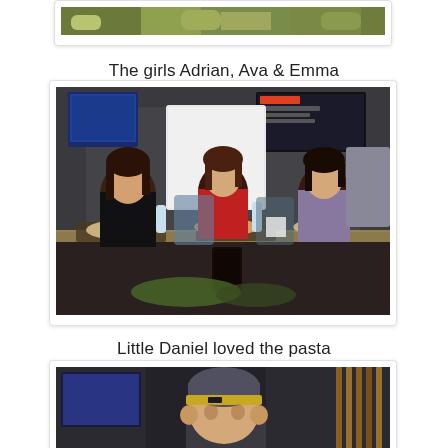[Figure (photo): Top partial photo of food on a table, cropped at top of page]
The girls Adrian, Ava & Emma
[Figure (photo): Three girls sitting at a dark restaurant table with food and drinks, TVs visible in background]
Little Daniel loved the pasta
[Figure (photo): Partial photo at bottom of page showing a child wearing a yellow-banded beanie hat in a restaurant setting]